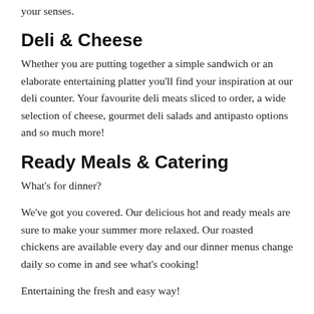your senses.
Deli & Cheese
Whether you are putting together a simple sandwich or an elaborate entertaining platter you'll find your inspiration at our deli counter. Your favourite deli meats sliced to order, a wide selection of cheese, gourmet deli salads and antipasto options and so much more!
Ready Meals & Catering
What's for dinner?
We've got you covered. Our delicious hot and ready meals are sure to make your summer more relaxed. Our roasted chickens are available every day and our dinner menus change daily so come in and see what's cooking!
Entertaining the fresh and easy way!